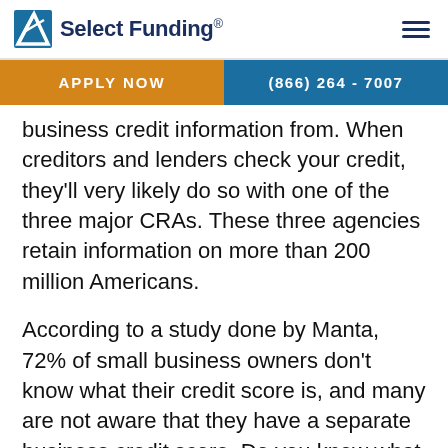Select Funding
APPLY NOW   (866) 264 - 7007
business credit information from. When creditors and lenders check your credit, they'll very likely do so with one of the three major CRAs. These three agencies retain information on more than 200 million Americans.
According to a study done by Manta, 72% of small business owners don't know what their credit score is, and many are not aware that they have a separate business credit score. Do you know what the three major CRAs are and how to obtain your credit score from